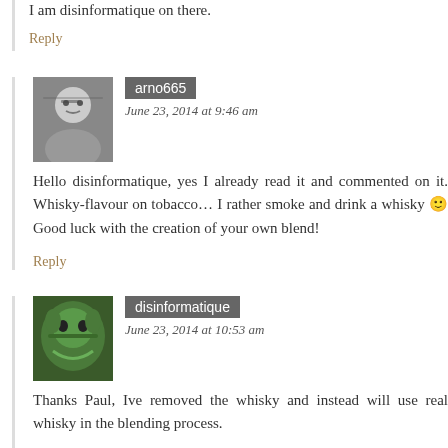I am disinformatique on there.
Reply
[Figure (photo): Avatar photo of arno665, a man with glasses in black and white]
arno665
June 23, 2014 at 9:46 am
Hello disinformatique, yes I already read it and commented on it. Whisky-flavour on tobacco… I rather smoke and drink a whisky 🙂 Good luck with the creation of your own blend!
Reply
[Figure (photo): Avatar photo of disinformatique, a green creature/character illustration]
disinformatique
June 23, 2014 at 10:53 am
Thanks Paul, Ive removed the whisky and instead will use real whisky in the blending process.

Cheers,
Chris